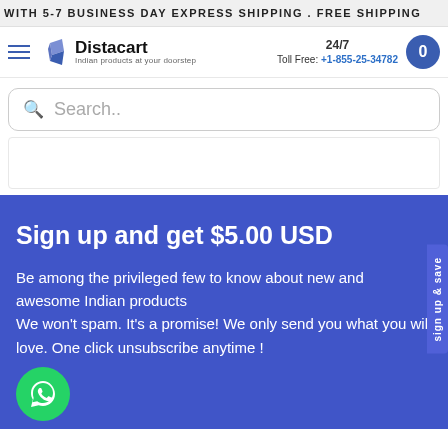WITH 5-7 BUSINESS DAY EXPRESS SHIPPING . FREE SHIPPING
[Figure (logo): Distacart logo with icon and tagline 'Indian products at your doorstep']
24/7 Toll Free: +1-855-25-34782
Search..
Sign up and get $5.00 USD
Be among the privileged few to know about new and awesome Indian products
We won't spam. It's a promise! We only send you what you will love. One click unsubscribe anytime !